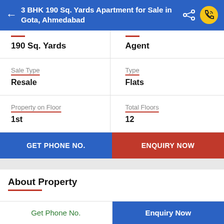3 BHK 190 Sq. Yards Apartment for Sale in Gota, Ahmedabad
|  |  |
| --- | --- |
| 190 Sq. Yards | Agent |
| Sale Type
Resale | Type
Flats |
| Property on Floor
1st | Total Floors
12 |
GET PHONE NO.
ENQUIRY NOW
About Property
Get Phone No.
Enquiry Now